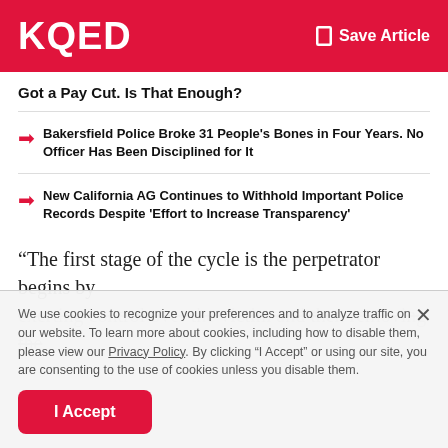KQED  Save Article
Got a Pay Cut. Is That Enough?
Bakersfield Police Broke 31 People's Bones in Four Years. No Officer Has Been Disciplined for It
New California AG Continues to Withhold Important Police Records Despite 'Effort to Increase Transparency'
“The first stage of the cycle is the perpetrator begins by exerting control over the victim and then removing the
We use cookies to recognize your preferences and to analyze traffic on our website. To learn more about cookies, including how to disable them, please view our Privacy Policy. By clicking “I Accept” or using our site, you are consenting to the use of cookies unless you disable them.
I Accept